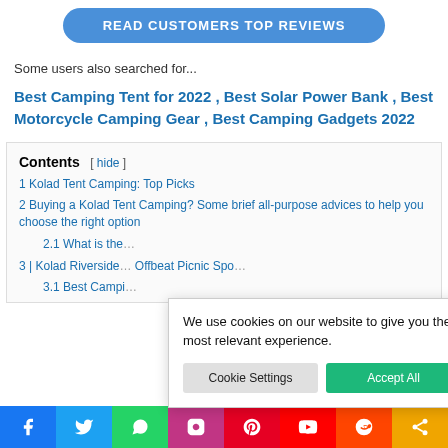READ CUSTOMERS TOP REVIEWS
Some users also searched for...
Best Camping Tent for 2022 , Best Solar Power Bank , Best Motorcycle Camping Gear , Best Camping Gadgets 2022
Contents [ hide ]
1 Kolad Tent Camping: Top Picks
2 Buying a Kolad Tent Camping? Some brief all-purpose advices to help you choose the right option
2.1 What is the...
3 | Kolad Riverside... Offbeat Picnic Spo...
3.1 Best Campi...
We use cookies on our website to give you the most relevant experience.
Cookie Settings
Accept All